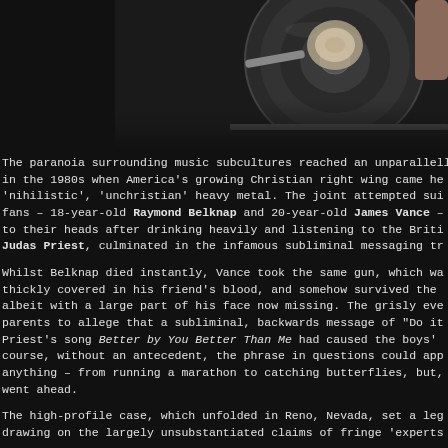[Figure (photo): A close-up photograph of a vinyl record on a turntable, showing the record, tonearm, and stylus area in dark tones.]
The paranoia surrounding music subcultures reached an unparalleled in the 1980s when America's growing Christian right wing came he 'nihilistic', 'unchristian' heavy metal. The joint attempted sui fans – 18-year-old Raymond Belknap and 20-year-old James Vance – to their heads after drinking heavily and listening to the Briti Judas Priest, culminated in the infamous subliminal messaging tr
Whilst Belknap died instantly, Vance took the same gun, which wa thickly covered in his friend's blood, and somehow survived the albeit with a large part of his face now missing. The grisly eve parents to allege that a subliminal, backwards message of "Do it Priest's song Better by You Better Than Me had caused the boys' course, without an antecedent, the phrase in questions could app anything – from running a marathon to catching butterflies, but, went ahead.
The high-profile case, which unfolded in Reno, Nevada, set a leg drawing on the largely unsubstantiated claims of fringe 'experts